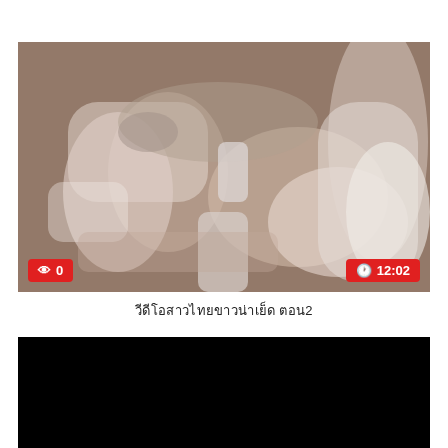[Figure (photo): Video thumbnail showing a woman in lingerie lying down; red badge with eye icon and '0' on bottom left; red badge with clock icon and '12:02' on bottom right]
วีดีโอสาวไทยขาวน่าเย็ด ตอน2
[Figure (photo): Black rectangle representing a second video thumbnail placeholder]